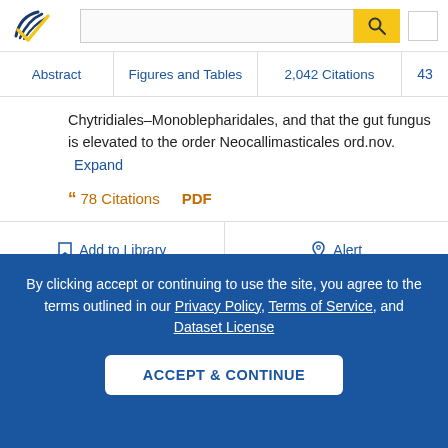Semantic Scholar — search bar with logo, search input, and search button
Abstract | Figures and Tables | 2,042 Citations | 43
Chytridiales–Monoblepharidales, and that the gut fungus is elevated to the order Neocallimasticales ord.nov. Expand
78 Citations  PDF
Add to Library  Alert
By clicking accept or continuing to use the site, you agree to the terms outlined in our Privacy Policy, Terms of Service, and Dataset License
ACCEPT & CONTINUE